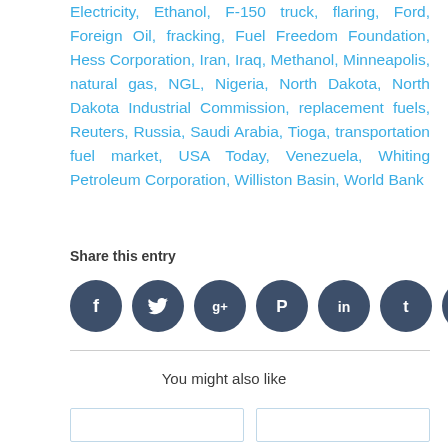Electricity, Ethanol, F-150 truck, flaring, Ford, Foreign Oil, fracking, Fuel Freedom Foundation, Hess Corporation, Iran, Iraq, Methanol, Minneapolis, natural gas, NGL, Nigeria, North Dakota, North Dakota Industrial Commission, replacement fuels, Reuters, Russia, Saudi Arabia, Tioga, transportation fuel market, USA Today, Venezuela, Whiting Petroleum Corporation, Williston Basin, World Bank
Share this entry
[Figure (infographic): Row of 8 social media icon circles (Facebook, Twitter, Google+, Pinterest, LinkedIn, Tumblr, Reddit, Email) in dark slate blue color]
You might also like